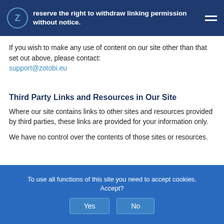reserve the right to withdraw linking permission without notice.
If you wish to make any use of content on our site other than that set out above, please contact: support@zotobi.eu
Third Party Links and Resources in Our Site
Where our site contains links to other sites and resources provided by third parties, these links are provided for your information only.
We have no control over the contents of those sites or resources.
To use all functions of this site you need to accept cookies. Accept? Yes No